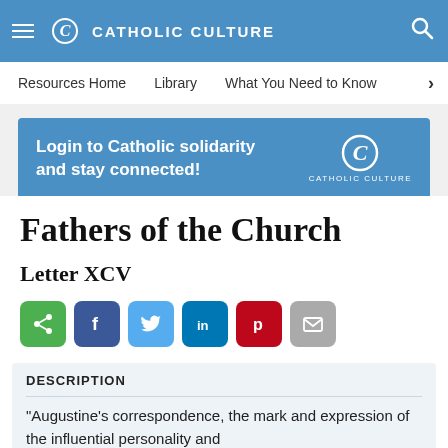CATHOLIC CULTURE
Resources Home   Library   What You Need to Know
[Figure (infographic): Catholic Culture login banner: 'Login to Catholic solidarity and stay connected!' with Catholic Culture logo on right]
Fathers of the Church
Letter XCV
[Figure (infographic): Social sharing buttons: share (green), Facebook (dark blue), Twitter (light blue), LinkedIn (blue), Pinterest (red), Email (gray)]
DESCRIPTION
“Augustine’s correspondence, the mark and expression of the influential personality and